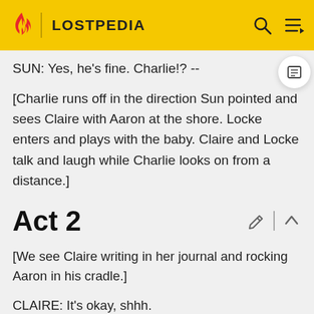LOSTPEDIA
SUN: Yes, he's fine. Charlie!? --
[Charlie runs off in the direction Sun pointed and sees Claire with Aaron at the shore. Locke enters and plays with the baby. Claire and Locke talk and laugh while Charlie looks on from a distance.]
Act 2
[We see Claire writing in her journal and rocking Aaron in his cradle.]
CLAIRE: It's okay, shhh.
CHARLIE: [approaching with some homemade diapers] Hey.